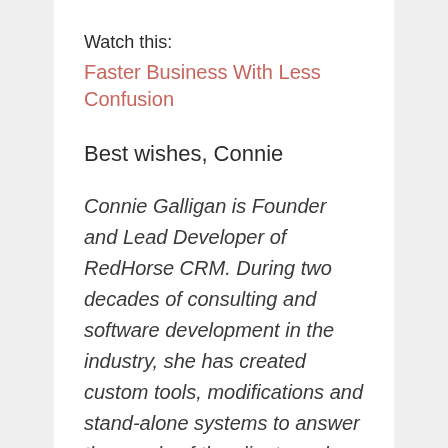Watch this:
Faster Business With Less Confusion
Best wishes, Connie
Connie Galligan is Founder and Lead Developer of RedHorse CRM. During two decades of consulting and software development in the industry, she has created custom tools, modifications and stand-alone systems to answer the needs of the clients and dealers she